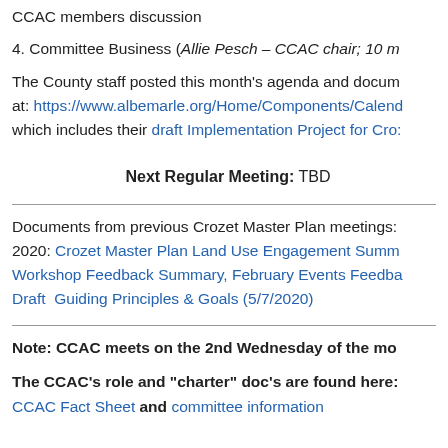CCAC members discussion
4. Committee Business (Allie Pesch – CCAC chair; 10 m
The County staff posted this month's agenda and docu at: https://www.albemarle.org/Home/Components/Calend which includes their draft Implementation Project for Cro:
Next Regular Meeting: TBD
Documents from previous Crozet Master Plan meetings: 2020: Crozet Master Plan Land Use Engagement Summ Workshop Feedback Summary, February Events Feedba Draft  Guiding Principles & Goals (5/7/2020)
Note: CCAC meets on the 2nd Wednesday of the mo
The CCAC's role and "charter" doc's are found here: CCAC Fact Sheet and committee information